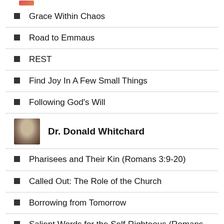Grace Within Chaos
Road to Emmaus
REST
Find Joy In A Few Small Things
Following God's Will
Dr. Donald Whitchard
Pharisees and Their Kin (Romans 3:9-20)
Called Out: The Role of the Church
Borrowing from Tomorrow
Salient Words for the Self-Righteous (Romans 2:1-16)
The Love of Sin and the Loss of Redemption